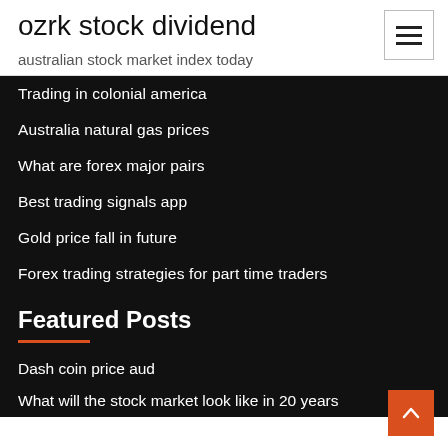ozrk stock dividend
australian stock market index today
Trading in colonial america
Australia natural gas prices
What are forex major pairs
Best trading signals app
Gold price fall in future
Forex trading strategies for part time traders
Featured Posts
Dash coin price aud
What will the stock market look like in 20 years